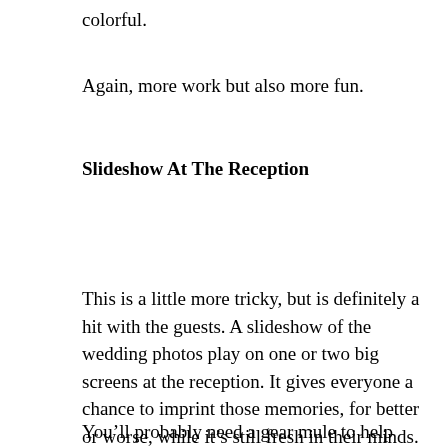colorful.
Again, more work but also more fun.
Slideshow At The Reception
This is a little more tricky, but is definitely a hit with the guests. A slideshow of the wedding photos play on one or two big screens at the reception. It gives everyone a chance to imprint those memories, for better or worse, while it's still fresh in their minds.
You'll probably need a gear mule to help with